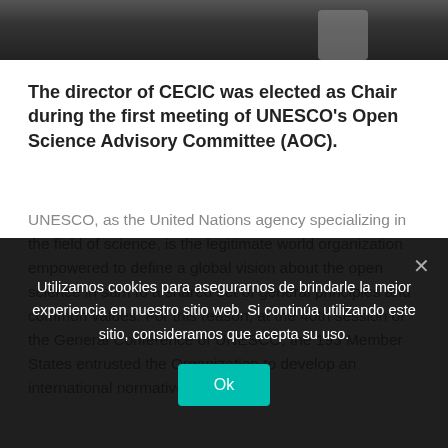[Figure (photo): Dark photo strip showing hands holding a device, dark background]
The director of CECIC was elected as Chair during the first meeting of UNESCO's Open Science Advisory Committee (AOC).
UNESCO, as the United Nations agency specializing in the field of science, is the legitimate world organization empowered to define a global vision about the open science in sum to a shared set of general principles and common values. For this reason, at the 40th session of the General Conference of UNESCO, the 193 Member States entrusted the Organization to develop an international normative
Utilizamos cookies para asegurarnos de brindarle la mejor experiencia en nuestro sitio web. Si continúa utilizando este sitio, consideramos que acepta su uso.